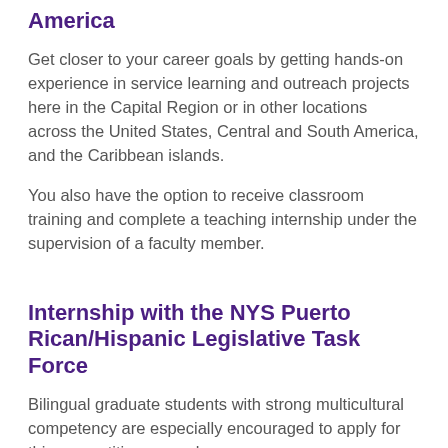America
Get closer to your career goals by getting hands-on experience in service learning and outreach projects here in the Capital Region or in other locations across the United States, Central and South America, and the Caribbean islands.
You also have the option to receive classroom training and complete a teaching internship under the supervision of a faculty member.
Internship with the NYS Puerto Rican/Hispanic Legislative Task Force
Bilingual graduate students with strong multicultural competency are especially encouraged to apply for this competitive second